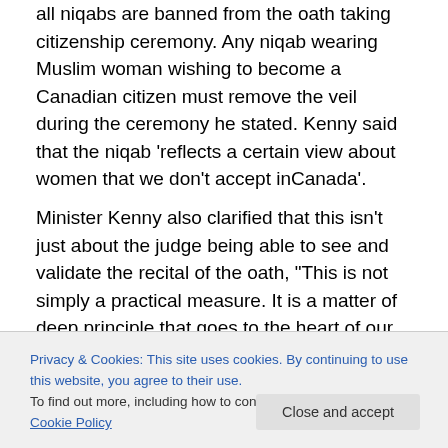all niqabs are banned from the oath taking citizenship ceremony. Any niqab wearing Muslim woman wishing to become a Canadian citizen must remove the veil during the ceremony he stated. Kenny said that the niqab 'reflects a certain view about women that we don't accept inCanada'.

Minister Kenny also clarified that this isn't just about the judge being able to see and validate the recital of the oath, "This is not simply a practical measure. It is a matter of deep principle that goes to the heart of our identity and our values of openness and equality". The niqab obviously
Privacy & Cookies: This site uses cookies. By continuing to use this website, you agree to their use.
To find out more, including how to control cookies, see here: Cookie Policy